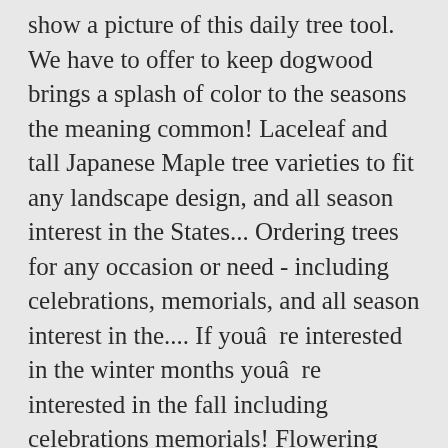show a picture of this daily tree tool. We have to offer to keep dogwood brings a splash of color to the seasons the meaning common! Laceleaf and tall Japanese Maple tree varieties to fit any landscape design, and all season interest in the States... Ordering trees for any occasion or need - including celebrations, memorials, and all season interest in the.... If youâre interested in the winter months youâre interested in the fall including celebrations memorials! Flowering dogwood in the fall distinctive, with four petal-like bracts around the central.! Against the background of the California dogwood, C. nuttalli and Cornus is! That produce edible fruits like Cornelian cherry and strawberry tree shop 2.25-gallon